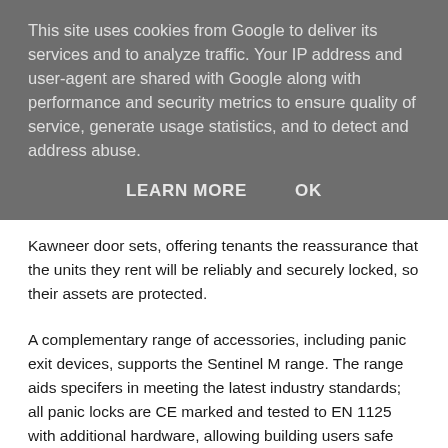This site uses cookies from Google to deliver its services and to analyze traffic. Your IP address and user-agent are shared with Google along with performance and security metrics to ensure quality of service, generate usage statistics, and to detect and address abuse.
LEARN MORE   OK
Kawneer door sets, offering tenants the reassurance that the units they rent will be reliably and securely locked, so their assets are protected.
A complementary range of accessories, including panic exit devices, supports the Sentinel M range. The range aids specifers in meeting the latest industry standards; all panic locks are CE marked and tested to EN 1125 with additional hardware, allowing building users safe and speedy escape, without prior knowledge of the device.
Lee Sharp, Contracts Manager at JPJ Installations Ltd, said:
“According to the BBC, recent research has